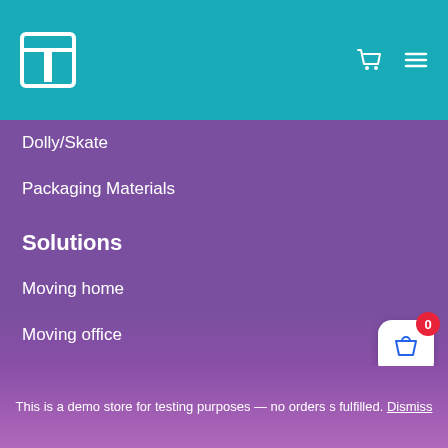[Figure (logo): White logo icon on teal header bar with cart and hamburger menu icons]
Dolly/Skate
Packaging Materials
Solutions
Moving home
Moving office
Commercial Relocation
Retail
Library Moves
University Moves
This is a demo store for testing purposes — no orders s fulfilled. Dismiss